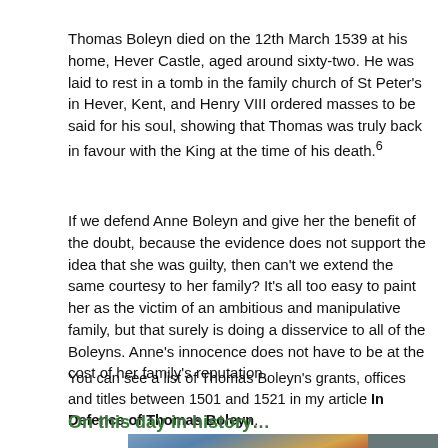Thomas Boleyn died on the 12th March 1539 at his home, Hever Castle, aged around sixty-two. He was laid to rest in a tomb in the family church of St Peter's in Hever, Kent, and Henry VIII ordered masses to be said for his soul, showing that Thomas was truly back in favour with the King at the time of his death.⁶
If we defend Anne Boleyn and give her the benefit of the doubt, because the evidence does not support the idea that she was guilty, then can't we extend the same courtesy to her family? It's all too easy to paint her as the victim of an ambitious and manipulative family, but that surely is doing a disservice to all of the Boleyns. Anne's innocence does not have to be at the cost of her family's reputation.
You can see a list of Thomas Boleyn's grants, offices and titles between 1501 and 1521 in my article In Defence of Thomas Boleyn.
On this day in history…
[Figure (photo): Advertisement banner showing an airplane being loaded with cargo, with a dark overlay panel on the right reading 'WITHOUT REGARD TO POLITICS, RELIGION OR ABILITY TO PAY']